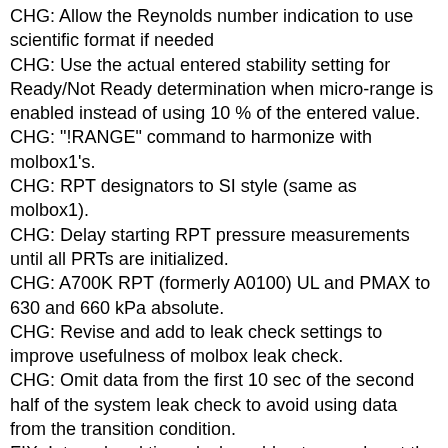CHG: Allow the Reynolds number indication to use scientific format if needed
CHG: Use the actual entered stability setting for Ready/Not Ready determination when micro-range is enabled instead of using 10 % of the entered value.
CHG: "!RANGE" command to harmonize with molbox1's.
CHG: RPT designators to SI style (same as molbox1).
CHG: Delay starting RPT pressure measurements until all PRTs are initialized.
CHG: A700K RPT (formerly A0100) UL and PMAX to 630 and 660 kPa absolute.
CHG: Revise and add to leak check settings to improve usefulness of molbox leak check.
CHG: Omit data from the first 10 sec of the second half of the system leak check to avoid using data from the transition condition.
FIX: Internal real time clock could not properly set the date past year 2009.
FIX: The 'K' that appears on the display to indicate an active K factor. Place it just after the flow units and ensure it is blanked out when the K factor is disabled. Alternate the 'K' indicator with the 'A' used to indicate an